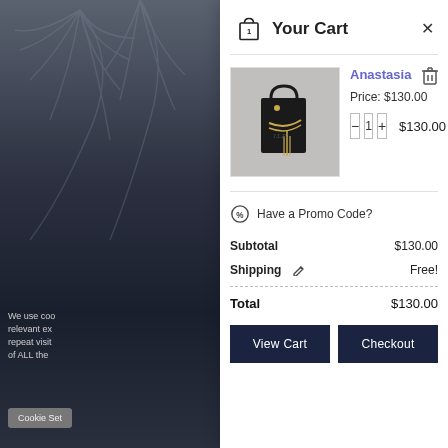Your Cart
[Figure (photo): Black shopping bag with gold chain and tassel, product named Anastasia]
Anastasia
Price: $130.00
- 1 + $130.00
Have a Promo Code?
|  |  |
| --- | --- |
| Subtotal | $130.00 |
| Shipping ✏ | Free! |
| Total | $130.00 |
View Cart
Checkout
We use coo relevant ex repeat visit of ALL the
Cookie Set